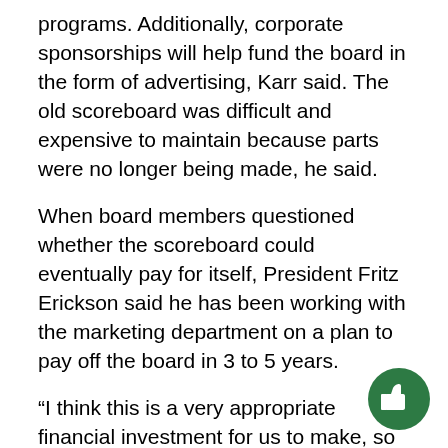programs. Additionally, corporate sponsorships will help fund the board in the form of advertising, Karr said. The old scoreboard was difficult and expensive to maintain because parts were no longer being made, he said.
When board members questioned whether the scoreboard could eventually pay for itself, President Fritz Erickson said he has been working with the marketing department on a plan to pay off the board in 3 to 5 years.
“I think this is a very appropriate financial investment for us to make, so I’m confident that we will be able to produce that kind of revenue,” Erickson said.
NMU used outside sponsorship and advertising to pay for a scoreboard in the Superior Dome, which introduced in spring 2014. The department plans t